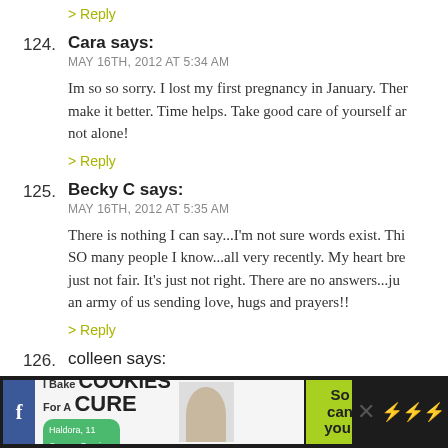> Reply
124. Cara says:
MAY 16TH, 2012 AT 5:34 AM

Im so so sorry. I lost my first pregnancy in January. There is nothing that can make it better. Time helps. Take good care of yourself and know you are not alone!

> Reply
125. Becky C says:
MAY 16TH, 2012 AT 5:35 AM

There is nothing I can say...I'm not sure words exist. This has happened to SO many people I know...all very recently. My heart breaks for you. It's just not fair. It's just not right. There are no answers...just know there is an army of us sending love, hugs and prayers!!

> Reply
126. colleen says:
[Figure (screenshot): Advertisement banner: 'I Bake COOKIES For A CURE' with Haldora, 11 Cancer Survivor. Green cookies badge and close button visible.]